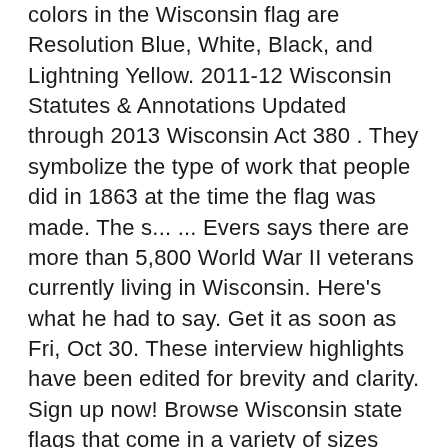colors in the Wisconsin flag are Resolution Blue, White, Black, and Lightning Yellow. 2011-12 Wisconsin Statutes & Annotations Updated through 2013 Wisconsin Act 380 . They symbolize the type of work that people did in 1863 at the time the flag was made. The s... ... Evers says there are more than 5,800 World War II veterans currently living in Wisconsin. Here's what he had to say. Get it as soon as Fri, Oct 30. These interview highlights have been edited for brevity and clarity. Sign up now! Browse Wisconsin state flags that come in a variety of sizes including 4x6 in stick flags, 12x18 in stick flags, 2x3 ft flags, and 3x5 ft flags. Flag Wisconsin [8] All Wisconsin state flags manufactured after May 1, 1981, were required to use this design.[1]. Below it is a badger the state animal. Who Was Leonard Schmitt, The Man Who Ran Against Joseph McCarthy? But what do they all mean? Actually, it's not a bar ... it's the Wisconsin state flag, but many agree that it is busy. Flag Wisconsin Active USA Center A.U.C. Originally designed in 1863 when regiments from Wisconsin wanted a flag for battlefield use, it wasn't until 1913 that state statutes